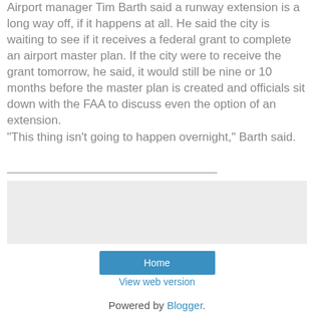Airport manager Tim Barth said a runway extension is a long way off, if it happens at all. He said the city is waiting to see if it receives a federal grant to complete an airport master plan. If the city were to receive the grant tomorrow, he said, it would still be nine or 10 months before the master plan is created and officials sit down with the FAA to discuss even the option of an extension.
"This thing isn't going to happen overnight," Barth said.
[Figure (other): Gray advertisement placeholder box]
Home
View web version
Powered by Blogger.